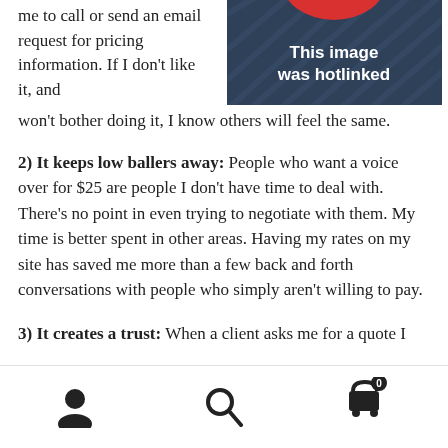me to call or send an email request for pricing information. If I don't like it, and won't bother doing it, I know others will feel the same.
[Figure (illustration): Dark blue background with diagonal pattern. A red circular arc at the top and white bold text reading 'This image was hotlinked'.]
2) It keeps low ballers away: People who want a voice over for $25 are people I don't have time to deal with. There's no point in even trying to negotiate with them. My time is better spent in other areas. Having my rates on my site has saved me more than a few back and forth conversations with people who simply aren't willing to pay.
3) It creates a trust: When a client asks me for a quote I
Navigation bar with user icon, search icon, and cart icon with badge showing 0